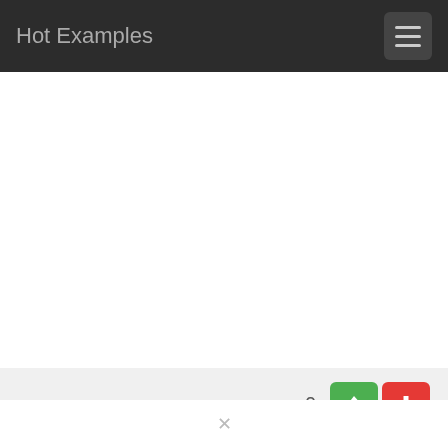Hot Examples
ПРИМЕР #1   0
Показать файл
Файл: merge_split.go   Проект: janelia-flyem/dvid